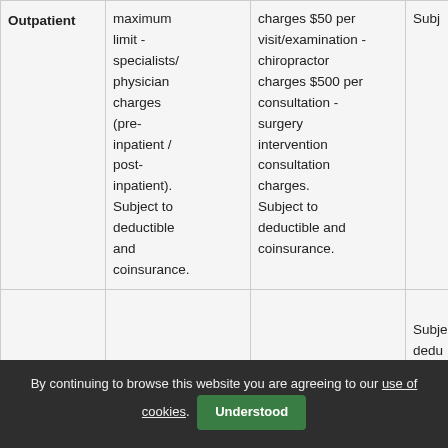|  |  |  |  |
| --- | --- | --- | --- |
| Outpatient | maximum limit - specialists/ physician charges (pre-inpatient / post-inpatient). Subject to deductible and coinsurance. | charges $50 per visit/examination - chiropractor charges $500 per consultation - surgery intervention consultation charges. Subject to deductible and coinsurance. | Subj |
|  |  |  | Subje dedu |
By continuing to browse this website you are agreeing to our use of cookies. Understood